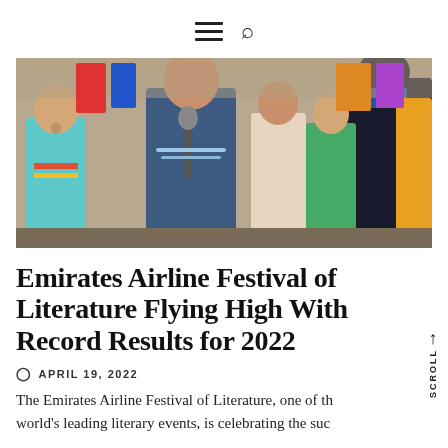☰ 🔍
[Figure (photo): Children in colorful traditional South Asian clothing performing on stage with a girl singing into a microphone; a person in black suit stands facing them from the right.]
Emirates Airline Festival of Literature Flying High With Record Results for 2022
APRIL 19, 2022
The Emirates Airline Festival of Literature, one of the world's leading literary events, is celebrating the suc